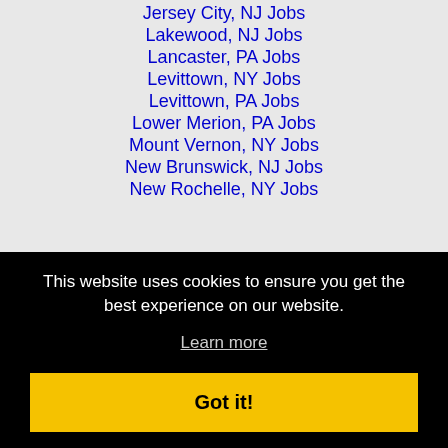Jersey City, NJ Jobs
Lakewood, NJ Jobs
Lancaster, PA Jobs
Levittown, NY Jobs
Levittown, PA Jobs
Lower Merion, PA Jobs
Mount Vernon, NY Jobs
New Brunswick, NJ Jobs
New Rochelle, NY Jobs
This website uses cookies to ensure you get the best experience on our website.
Learn more
Got it!
Reading, PA Jobs